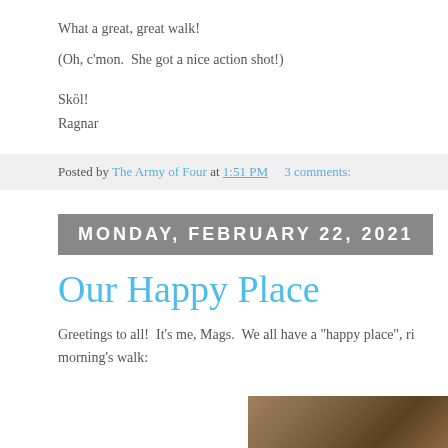What a great, great walk!
(Oh, c'mon.  She got a nice action shot!)
Skö l!
Ragnar
Posted by The Army of Four at 1:51 PM   3 comments:
MONDAY, FEBRUARY 22, 2021
Our Happy Place
Greetings to all!  It's me, Mags.  We all have a "happy place", ri... morning's walk:
[Figure (photo): Partial photo of ground/fur texture at bottom right of page]